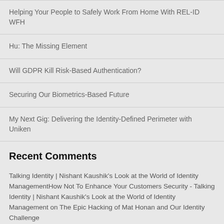Helping Your People to Safely Work From Home With REL-ID WFH
Hu: The Missing Element
Will GDPR Kill Risk-Based Authentication?
Securing Our Biometrics-Based Future
My Next Gig: Delivering the Identity-Defined Perimeter with Uniken
Recent Comments
Talking Identity | Nishant Kaushik's Look at the World of Identity ManagementHow Not To Enhance Your Customers Security - Talking Identity | Nishant Kaushik's Look at the World of Identity Management on The Epic Hacking of Mat Honan and Our Identity Challenge